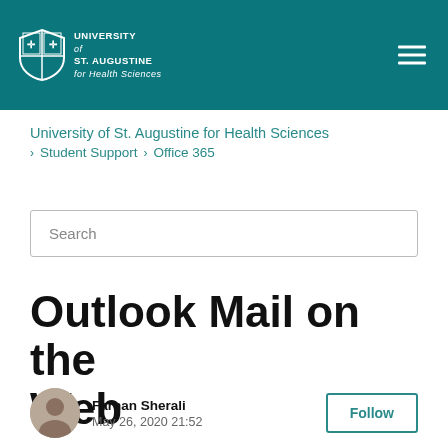University of St. Augustine for Health Sciences — site header with logo and navigation
University of St. Augustine for Health Sciences › Student Support › Office 365
Search
Outlook Mail on the Web
Farhan Sherali
May 26, 2020 21:52